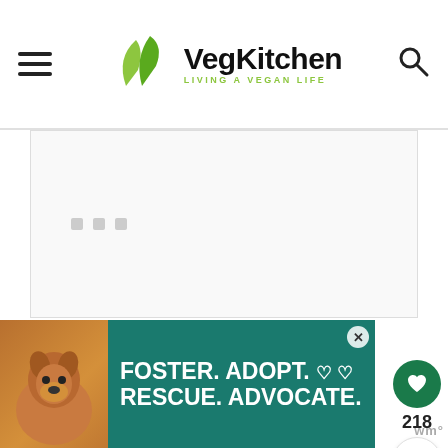VegKitchen — LIVING A VEGAN LIFE
[Figure (screenshot): Loading content placeholder area with three small grey squares indicating loading state]
[Figure (other): Heart/save button (green circle with white heart icon) showing 218 saves, and a share button below]
[Figure (other): Advertisement banner: FOSTER. ADOPT. RESCUE. ADVOCATE. with dog photo on teal background, close button, and wm° logo]